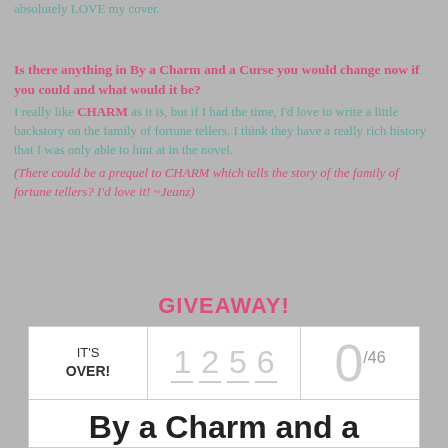absolutely LOVE my cover.
Is there anything in By a Charm and a Curse you would change now if you could and what would it be?
I really like CHARM as it is, but if I had the time, I'd love to write a little backstory on the family of fortune tellers. I think they have a really rich history that I was only able to hint at in the novel.
(There could be a prequel to CHARM which tells the story of the family of fortune tellers? I'd love it! ~Jeanz)
GIVEAWAY!
| IT'S OVER! | 1 2 5 6 | 0/46 |
| --- | --- | --- |
| By a Charm and a Curse Swag Pack (US |  |  |
By a Charm and a Curse Swag Pack (US